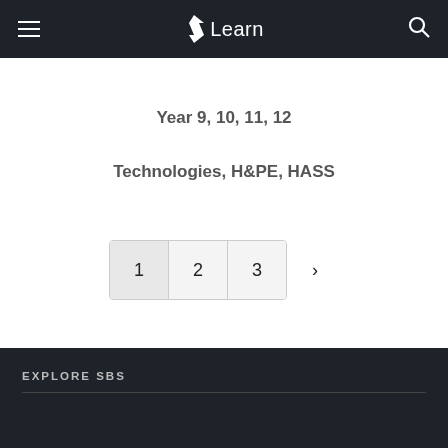Learn
Year 9, 10, 11, 12
Technologies, H&PE, HASS
1  2  3  >
EXPLORE SBS